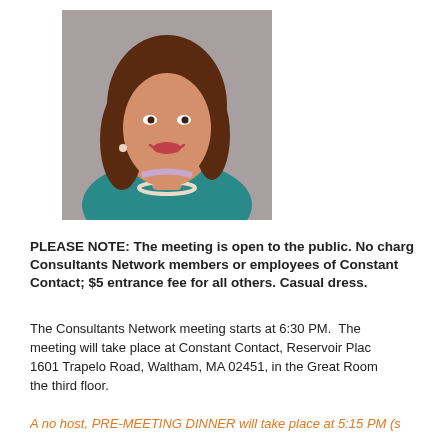[Figure (photo): Professional headshot of a smiling woman with long brown hair, wearing a teal jacket and pearl necklace, against a gray background.]
PLEASE NOTE: The meeting is open to the public. No charge for Consultants Network members or employees of Constant Contact; $5 entrance fee for all others. Casual dress.
The Consultants Network meeting starts at 6:30 PM.  The meeting will take place at Constant Contact, Reservoir Place, 1601 Trapelo Road, Waltham, MA 02451, in the Great Room on the third floor.
A no host, PRE-MEETING DINNER will take place at 5:15 PM (sh